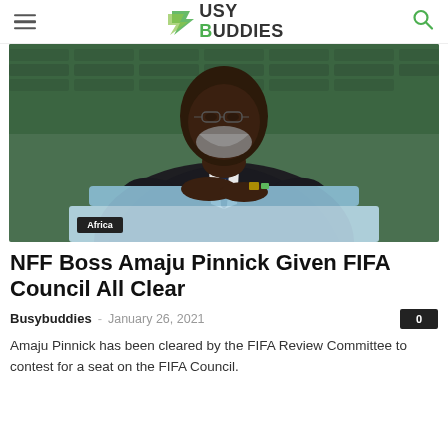Busy Buddies
[Figure (photo): Man in a dark suit sitting at a stadium or arena, hands clasped together, wearing glasses, with a grey beard. A light blue panel is visible in front. Green stadium seats visible in the background. An 'Africa' category tag is shown in the lower left corner.]
NFF Boss Amaju Pinnick Given FIFA Council All Clear
Busybuddies – January 26, 2021
Amaju Pinnick has been cleared by the FIFA Review Committee to contest for a seat on the FIFA Council.